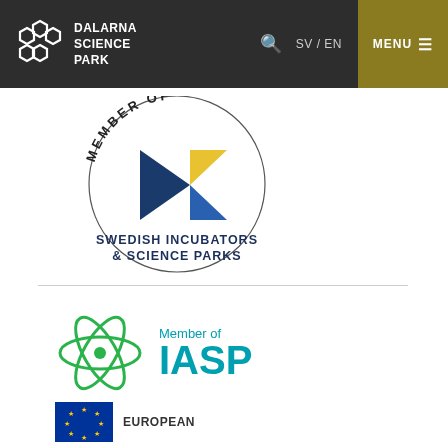DALARNA SCIENCE PARK | SV / EN | MENU
[Figure (logo): Member of Swedish Incubators & Science Parks circular logo with blue and yellow triangles]
[Figure (logo): Member of IASP logo with green atomic/orbit symbol and teal text]
[Figure (logo): European Union flag logo with EUROPEAN text partially visible]